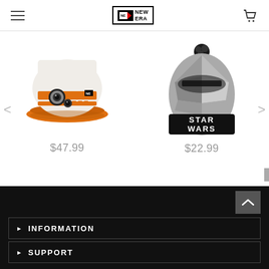New Era - Navigation header with hamburger menu, New Era logo, and cart icon
[Figure (photo): BB-8 Star Wars New Era snapback baseball cap with orange brim, white crown featuring BB-8 droid design]
$47.99
[Figure (photo): Star Wars Captain Phasma New Era knit beanie hat with pom-pom, black cuff with STAR WARS text, gray geometric pattern]
$22.99
INFORMATION | SUPPORT
▶ INFORMATION
▶ SUPPORT